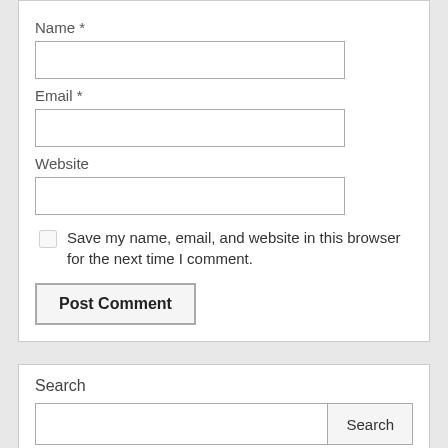Name *
Email *
Website
Save my name, email, and website in this browser for the next time I comment.
Post Comment
Search
Search
10TH PASS JOBS (1)
12TH PASS JOBS (2)
15 AUGUST (1)